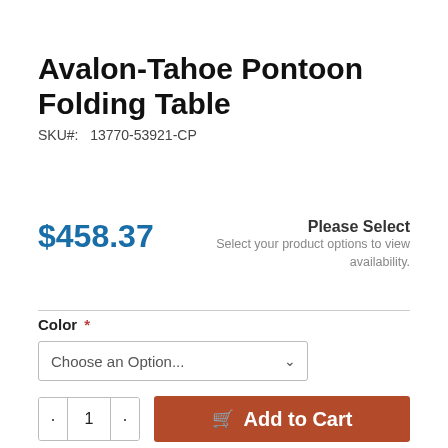Avalon-Tahoe Pontoon Folding Table
SKU#:  13770-53921-CP
$458.37
Please Select
Select your product options to view availability.
Color *
Choose an Option...
1
Add to Cart